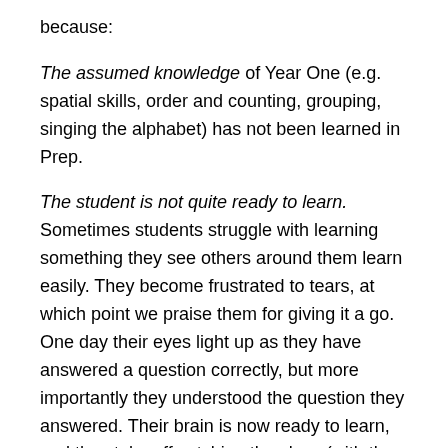because:
The assumed knowledge of Year One (e.g. spatial skills, order and counting, grouping, singing the alphabet) has not been learned in Prep.
The student is not quite ready to learn.  Sometimes students struggle with learning something they see others around them learn easily.  They become frustrated to tears, at which point we praise them for giving it a go.  One day their eyes light up as they have answered a question correctly, but more importantly they understood the question they answered.  Their brain is now ready to learn, and they take off catching the class (with the help of tuition) and at times moving to the head of the class with their results.  Every child is ready to learn at a different time, so you never give up on them.  Sometimes they are